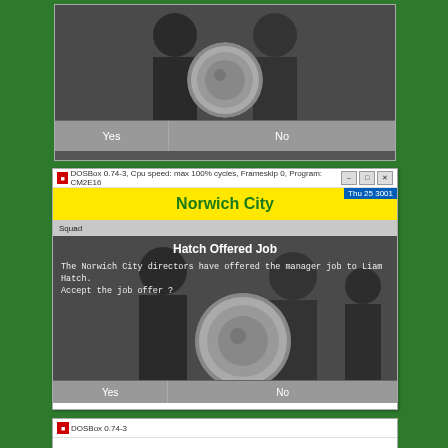[Figure (screenshot): Partial screenshot of a game (Championship Manager) showing a photo of men in suits holding a silver plate/trophy, with Yes and No buttons at the bottom. Top portion of the window is cropped.]
[Figure (screenshot): Full DOSBox 0.74-3 window running Championship Manager 2 (CM2E16). Shows Norwich City header in green text on yellow background, a 'Hatch Offered Job' dialog box overlay on a photo of men in suits. Text reads: 'The Norwich City directors have offered the manager job to Liam Hatch. Accept the job offer?' with Yes and No buttons.]
[Figure (screenshot): Partial bottom screenshot of another DOSBox window, only the title bar is visible.]